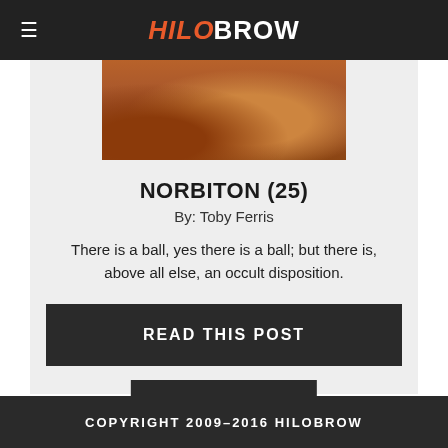HiloBROW
[Figure (photo): Partial view of a painting showing a figure in orange/red clothing with a woven basket on a wooden surface]
NORBITON (25)
By: Toby Ferris
There is a ball, yes there is a ball; but there is, above all else, an occult disposition.
READ THIS POST
OLDER POSTS
COPYRIGHT 2009–2016 HILOBROW